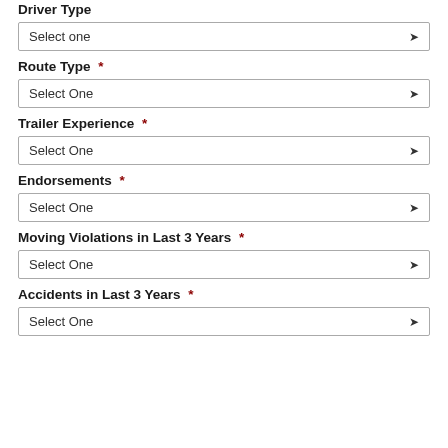Driver Type
Select one
Route Type *
Select One
Trailer Experience *
Select One
Endorsements *
Select One
Moving Violations in Last 3 Years *
Select One
Accidents in Last 3 Years *
Select One